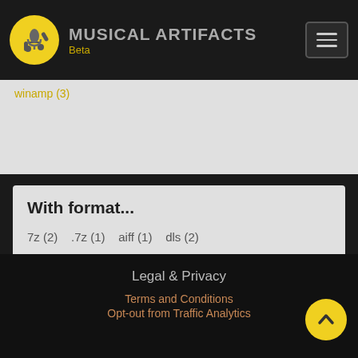MUSICAL ARTIFACTS Beta
winamp (3)
With format...
7z (2)   .7z (1)   aiff (1)   dls (2)   free soundfont (2)   imy (1)   mid (1)   mxmf (1)   sbk (1)   sf2 (8)   .sf2 (2)   sfark (1)   soundfont (3)   wav (1)   zip (1)
Legal & Privacy
Terms and Conditions
Opt-out from Traffic Analytics